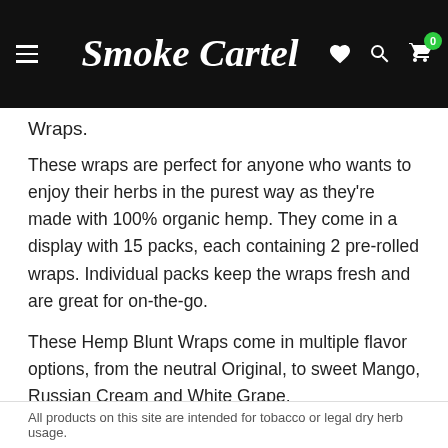Smoke Cartel
Wraps.
These wraps are perfect for anyone who wants to enjoy their herbs in the purest way as they're made with 100% organic hemp. They come in a display with 15 packs, each containing 2 pre-rolled wraps. Individual packs keep the wraps fresh and are great for on-the-go.
These Hemp Blunt Wraps come in multiple flavor options, from the neutral Original, to sweet Mango, Russian Cream and White Grape.
☺ 6
☺ Add Reaction
All products on this site are intended for tobacco or legal dry herb usage.